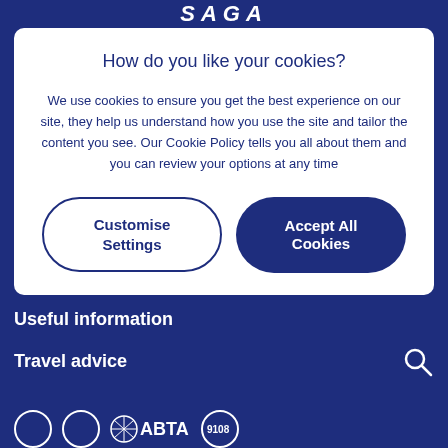SAGA
How do you like your cookies?
We use cookies to ensure you get the best experience on our site, they help us understand how you use the site and tailor the content you see. Our Cookie Policy tells you all about them and you can review your options at any time
Customise Settings
Accept All Cookies
Useful information
Travel advice
[Figure (logo): Bottom logos including ABTA and other certification logos]